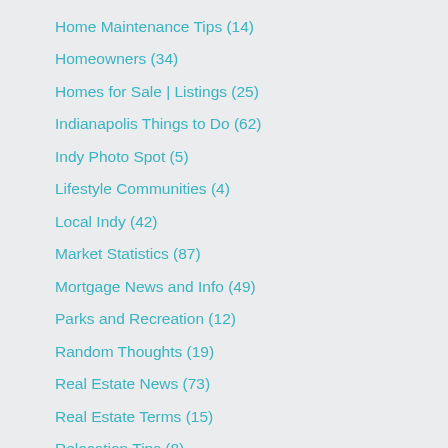Home Maintenance Tips  (14)
Homeowners  (34)
Homes for Sale | Listings  (25)
Indianapolis Things to Do  (62)
Indy Photo Spot  (5)
Lifestyle Communities  (4)
Local Indy  (42)
Market Statistics  (87)
Mortgage News and Info  (49)
Parks and Recreation  (12)
Random Thoughts  (19)
Real Estate News  (73)
Real Estate Terms  (15)
Relocation Tips  (8)
Seller Information  (41)